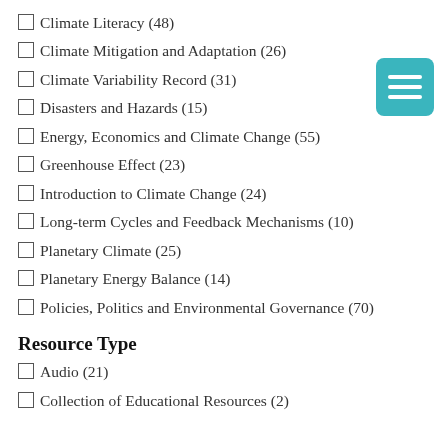Climate Literacy (48)
Climate Mitigation and Adaptation (26)
Climate Variability Record (31)
Disasters and Hazards (15)
Energy, Economics and Climate Change (55)
Greenhouse Effect (23)
Introduction to Climate Change (24)
Long-term Cycles and Feedback Mechanisms (10)
Planetary Climate (25)
Planetary Energy Balance (14)
Policies, Politics and Environmental Governance (70)
Resource Type
Audio (21)
Collection of Educational Resources (2)